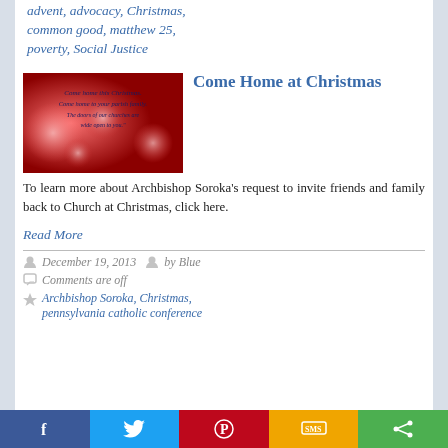advent, advocacy, Christmas, common good, matthew 25, poverty, Social Justice
[Figure (photo): Red bokeh background image with text: 'Come home this Christmas. Come home to your parish family. The doors of our churches are wide open to you.']
Come Home at Christmas
To learn more about Archbishop Soroka's request to invite friends and family back to Church at Christmas, click here.
Read More
December 19, 2013   by Blue
Comments are off
Archbishop Soroka, Christmas, pennsylvania catholic conference